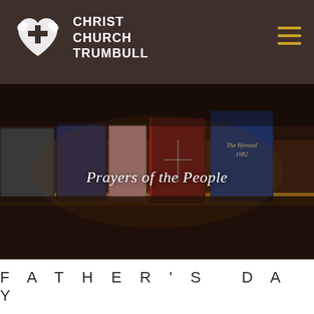[Figure (logo): Christ Church Trumbull logo with heart and cross icon in white on dark brown navigation bar, with hamburger menu icon in gold on the right]
[Figure (photo): Photo of church hymnals and books standing upright in a wooden pew book rack, including 'The Hymnal 1982'. Overlaid text reads 'Prayers of the People'.]
FATHER'S DAY